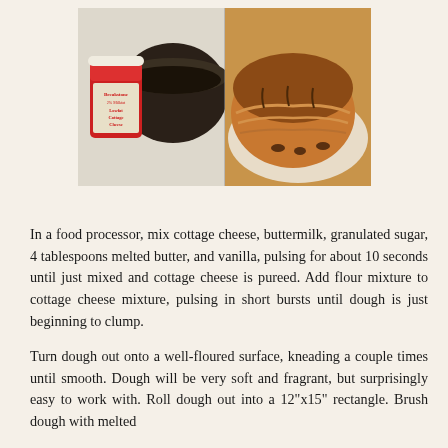[Figure (photo): Two-part food photo: left side shows a container of Breakstone 2% Milkfat Lowfat Cottage Cheese next to a dark mixing bowl with crumble mixture; right side shows a close-up of a baked cinnamon roll or pastry with caramelized topping and visible layers.]
In a food processor, mix cottage cheese, buttermilk, granulated sugar, 4 tablespoons melted butter, and vanilla, pulsing for about 10 seconds until just mixed and cottage cheese is pureed. Add flour mixture to cottage cheese mixture, pulsing in short bursts until dough is just beginning to clump.
Turn dough out onto a well-floured surface, kneading a couple times until smooth. Dough will be very soft and fragrant, but surprisingly easy to work with. Roll dough out into a 12"x15" rectangle. Brush dough with melted